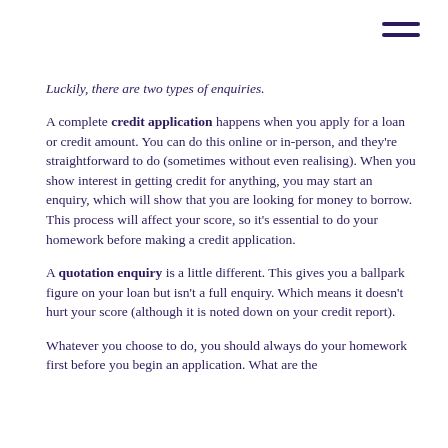Luckily, there are two types of enquiries.
A complete credit application happens when you apply for a loan or credit amount. You can do this online or in-person, and they're straightforward to do (sometimes without even realising). When you show interest in getting credit for anything, you may start an enquiry, which will show that you are looking for money to borrow. This process will affect your score, so it's essential to do your homework before making a credit application.
A quotation enquiry is a little different. This gives you a ballpark figure on your loan but isn't a full enquiry. Which means it doesn't hurt your score (although it is noted down on your credit report).
Whatever you choose to do, you should always do your homework first before you begin an application. What are the